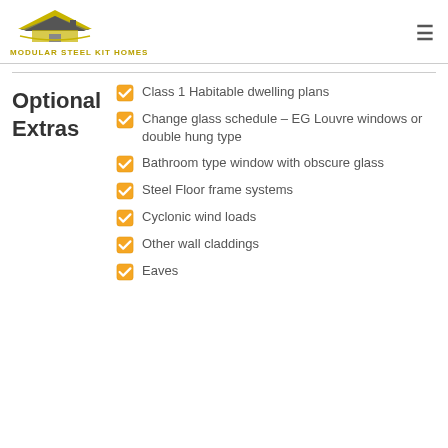MODULAR STEEL KIT HOMES
Optional Extras
Class 1 Habitable dwelling plans
Change glass schedule – EG Louvre windows or double hung type
Bathroom type window with obscure glass
Steel Floor frame systems
Cyclonic wind loads
Other wall claddings
Eaves